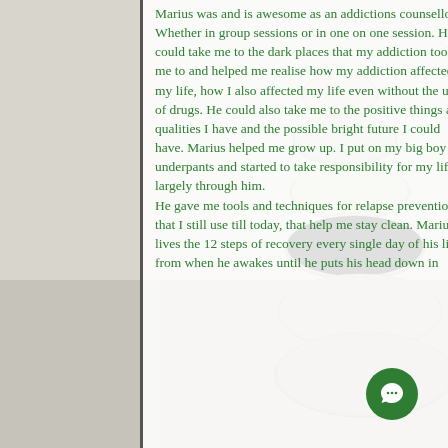[Figure (illustration): Background image of stacked zen stones (pebbles) on a light grey background, partially visible behind the white text panel on the right side of the page.]
Marius was and is awesome as an addictions counsellor! Whether in group sessions or in one on one session. He could take me to the dark places that my addiction took me to and helped me realise how my addiction affected my life, how I also affected my life even without the use of drugs. He could also take me to the positive things and qualities I have and the possible bright future I could have. Marius helped me grow up. I put on my big boy underpants and started to take responsibility for my life, largely through him.
He gave me tools and techniques for relapse prevention that I still use till today, that help me stay clean. Marius lives the 12 steps of recovery every single day of his life, from when he awakes until he puts his head down in
[Figure (other): Green circular chat/message bubble button in the bottom right area of the text panel.]